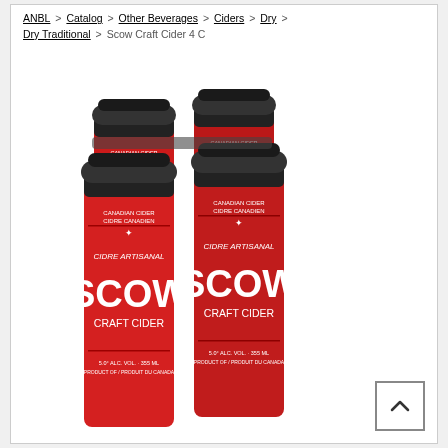ANBL > Catalog > Other Beverages > Ciders > Dry > Dry Traditional > Scow Craft Cider 4 C
[Figure (photo): A 4-pack of Scow Craft Cider tall cans with red labels reading 'Cidre Artisanal SCOW Craft Cider', black lids, arranged in a 2x2 formation.]